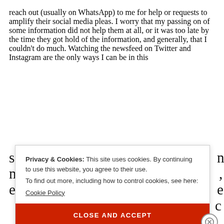reach out (usually on WhatsApp) to me for help or requests to amplify their social media pleas. I worry that my passing on of some information did not help them at all, or it was too late by the time they got hold of the information, and generally, that I couldn't do much. Watching the newsfeed on Twitter and Instagram are the only ways I can be in this s... n... e...
Privacy & Cookies: This site uses cookies. By continuing to use this website, you agree to their use.
To find out more, including how to control cookies, see here:
Cookie Policy
CLOSE AND ACCEPT